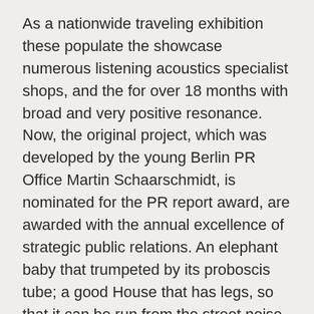As a nationwide traveling exhibition these populate the showcase numerous listening acoustics specialist shops, and the for over 18 months with broad and very positive resonance. Now, the original project, which was developed by the young Berlin PR Office Martin Schaarschmidt, is nominated for the PR report award, are awarded with the annual excellence of strategic public relations. An elephant baby that trumpeted by its proboscis tube; a good House that has legs, so that it can be run from the street noise of it. Hearing aids-birds and hearing aids male; a green radio alien with antennae ears 50 objects created in the ReSound look nature workshop\"and have been for over 18 months in the To see part of a nationwide traveling exhibition in hearing acoustics – specialist shops. The exhibition was\"class, for example, hearing